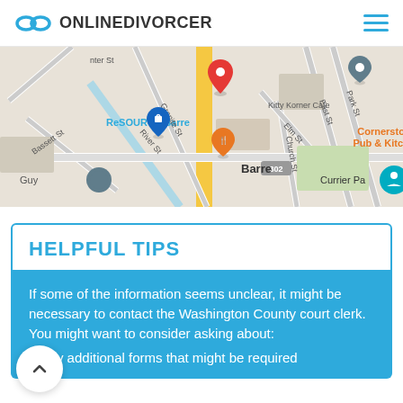ONLINEDIVORCER
[Figure (map): Google Maps view of Barre area showing streets including Granite St, River St, Bassett St, Park St, East St, Church St, Elm St. Notable landmarks: ReSOURCE Barre, Cornerstone Pub & Kitchen, Kitty Korner Cafe, Currier Pa. Road 302 visible. Map pins shown in red, blue, orange, and gray.]
HELPFUL TIPS
If some of the information seems unclear, it might be necessary to contact the Washington County court clerk. You might want to consider asking about:
Any additional forms that might be required